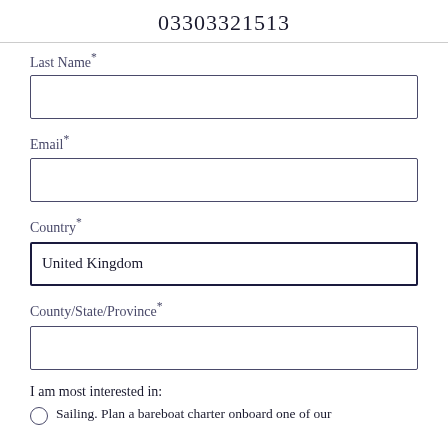03303321513
Last Name*
Email*
Country*
United Kingdom
County/State/Province*
I am most interested in:
Sailing. Plan a bareboat charter onboard one of our